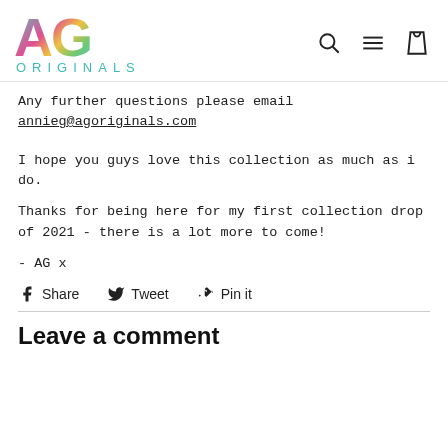[Figure (logo): AG Originals logo with colorful stylized AG letters and teal ORIGINALS text below, with search, menu, and cart icons on the right]
Any further questions please email annieg@agoriginals.com
I hope you guys love this collection as much as i do.
Thanks for being here for my first collection drop of 2021 - there is a lot more to come!
- AG x
Share  Tweet  Pin it
Leave a comment